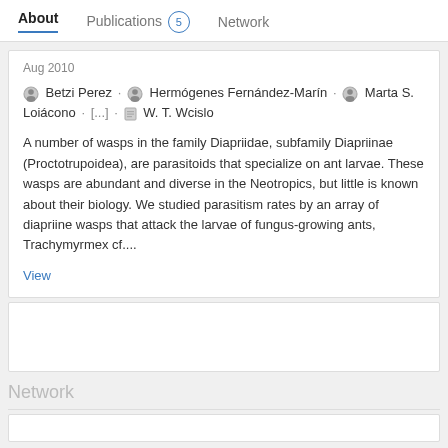About | Publications 5 | Network
Aug 2010
Betzi Perez · Hermógenes Fernández-Marín · Marta S. Loiácono · [...] · W. T. Wcislo
A number of wasps in the family Diapriidae, subfamily Diapriinae (Proctotrupoidea), are parasitoids that specialize on ant larvae. These wasps are abundant and diverse in the Neotropics, but little is known about their biology. We studied parasitism rates by an array of diapriine wasps that attack the larvae of fungus-growing ants, Trachymyrmex cf....
View
Network